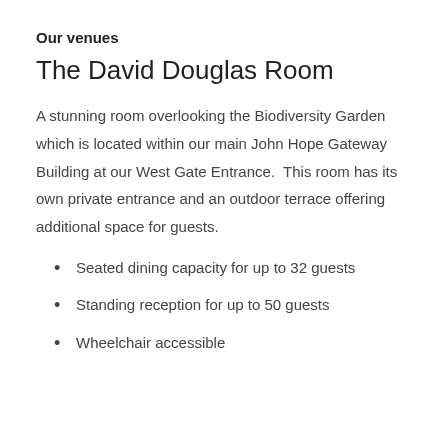Our venues
The David Douglas Room
A stunning room overlooking the Biodiversity Garden which is located within our main John Hope Gateway Building at our West Gate Entrance.  This room has its own private entrance and an outdoor terrace offering additional space for guests.
Seated dining capacity for up to 32 guests
Standing reception for up to 50 guests
Wheelchair accessible